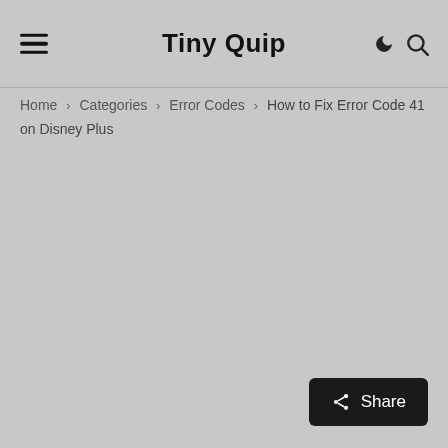Tiny Quip
Home › Categories › Error Codes › How to Fix Error Code 41 on Disney Plus
Share